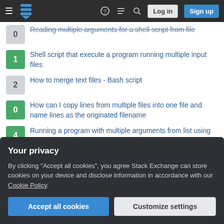[Figure (screenshot): Stack Exchange navigation bar with hamburger menu, logo, help icon, chat icon, search icon, Log in and Sign up buttons]
0 Reading multiple arguments for a shell script from file
1 Shell script that execute a program running multiple input files
2 How to merge text files - Bash script
0 How can I copy lines from multiple files into one file and name lines as the originated filename
4 Running a program with multiple arguments from list using parallel
Hot Network Questions
Spark and pop when installing light switch
Your privacy
By clicking "Accept all cookies", you agree Stack Exchange can store cookies on your device and disclose information in accordance with our Cookie Policy.
Accept all cookies   Customize settings
Invertible element can't be nilpotent?